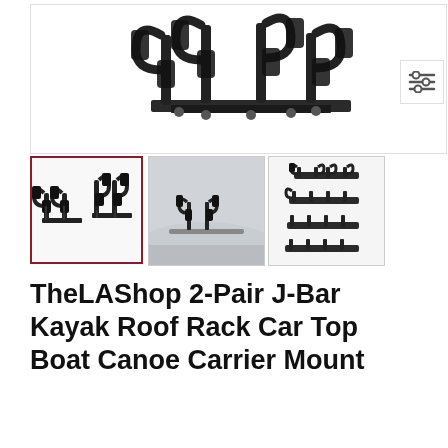[Figure (photo): Close-up product photo of TheLAShop 2-Pair J-Bar Kayak Roof Rack — black steel J-bar mounts with foam padding, showing 4 J-bars mounted on a base plate, photographed against white background]
[Figure (photo): Thumbnail 1 (selected, red border): Full set of 4 J-bar kayak roof rack mounts spread out, black metal with foam padding, white background]
[Figure (photo): Thumbnail 2: Two J-bar kayak holders mounted on top of a silver vehicle roof rack, outdoor photo]
[Figure (photo): Thumbnail 3: Four J-bar kayak roof rack mounts stacked/arranged showing multiple units, black metal, white background]
TheLAShop 2-Pair J-Bar Kayak Roof Rack Car Top Boat Canoe Carrier Mount